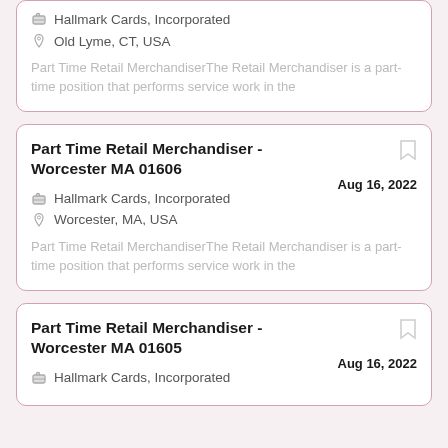Hallmark Cards, Incorporated
Old Lyme, CT, USA
Part Time Retail MerchandiserThe Retail Merchandiser is a part-time position that performs service work in the
Part Time Retail Merchandiser - Worcester MA 01606
Aug 16, 2022
Hallmark Cards, Incorporated
Worcester, MA, USA
Part Time Retail MerchandiserThe Retail Merchandiser is a part-time position that performs service work in the
Part Time Retail Merchandiser - Worcester MA 01605
Aug 16, 2022
Hallmark Cards, Incorporated